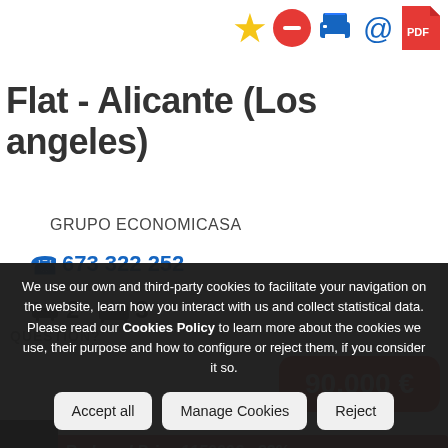[Figure (other): Top-right icon row: star (gold), minus circle (red), printer (blue), at-sign (blue), PDF icon (red)]
Flat - Alicante (Los angeles)
GRUPO ECONOMICASA
673 322 252
2  3
90.000 €
Reduced Price 115000€ - 22%
We use our own and third-party cookies to facilitate your navigation on the website, learn how you interact with us and collect statistical data. Please read our Cookies Policy to learn more about the cookies we use, their purpose and how to configure or reject them, if you consider it so.
QUESTION?
Accept all
Manage Cookies
Reject